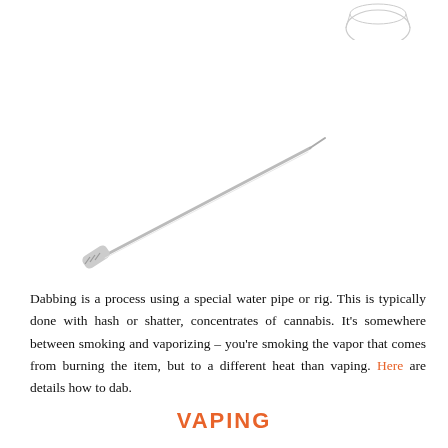[Figure (photo): Partial view of a glass container or jar at the top right corner of the page]
[Figure (photo): A metal dabbing tool (dab tool) — a thin elongated implement, angled diagonally across the page]
Dabbing is a process using a special water pipe or rig. This is typically done with hash or shatter, concentrates of cannabis. It's somewhere between smoking and vaporizing – you're smoking the vapor that comes from burning the item, but to a different heat than vaping. Here are details how to dab.
VAPING